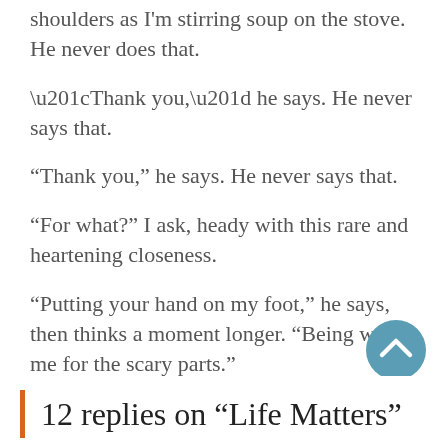shoulders as I'm stirring soup on the stove. He never does that.
“Thank you,” he says. He never says that.
“For what?” I ask, heady with this rare and heartening closeness.
“Putting your hand on my foot,” he says, then thinks a moment longer. “Being with me for the scary parts.”
In that moment, Tony’s embrace reminds me that my life matters too. Even the scary parts.
[Figure (other): Circular teal scroll-to-top button with white chevron arrow pointing up]
12 replies on “Life Matters”